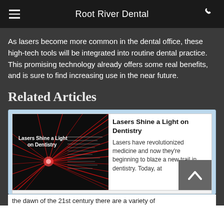Root River Dental
As lasers become more common in the dental office, these high-tech tools will be integrated into routine dental practice. This promising technology already offers some real benefits, and is sure to find increasing use in the near future.
Related Articles
[Figure (screenshot): Article card showing 'Lasers Shine a Light on Dentistry' magazine cover image with red laser beams on dark background, alongside article title and teaser text.]
Lasers Shine a Light on Dentistry
Lasers have revolutionized medicine and now they're beginning to blaze a new trail in dentistry. Today, at the dawn of the 21st century there are a variety of